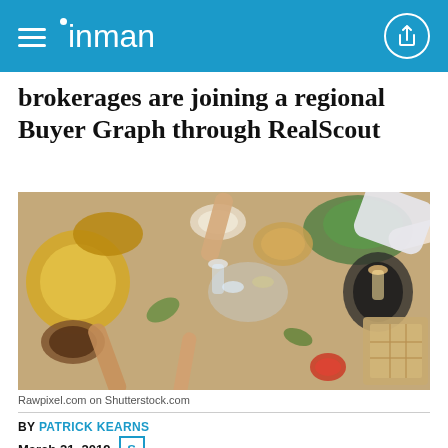inman
brokerages are joining a regional Buyer Graph through RealScout
[Figure (photo): Overhead view of people clinking glasses over a table full of food and dishes at a celebration or gathering.]
Rawpixel.com on Shutterstock.com
BY PATRICK KEARNS
March 21, 2019
SHARE THIS ARTICLE